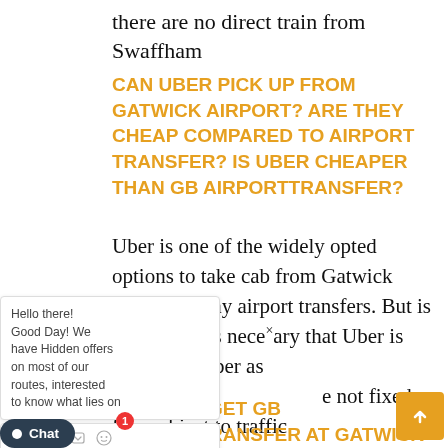there are no direct train from Swaffham
CAN UBER PICK UP FROM GATWICK AIRPORT? ARE THEY CHEAP COMPARED TO AIRPORT TRANSFER? IS UBER CHEAPER THAN GB AIRPORTTRANSFER?
Uber is one of the widely opted options to take cab from Gatwick Airport or any airport transfers. But is is not always necessary that Uber is always cheaper as they are not fixed fare subject to traffic at peak hour in contrast GB airport transfer offer fixed fare ride and much cheaper.
HOW DO I GET GB AIRPORTTRANSFER AT GATWICK AIRPORT?